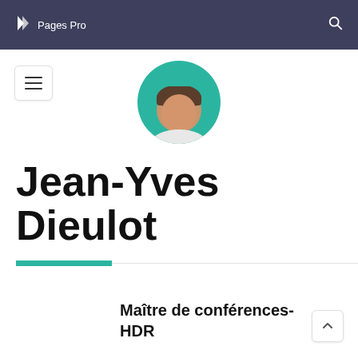Pages Pro
[Figure (photo): Circular avatar photo of Jean-Yves Dieulot with teal background]
Jean-Yves Dieulot
Maître de conférences-HDR